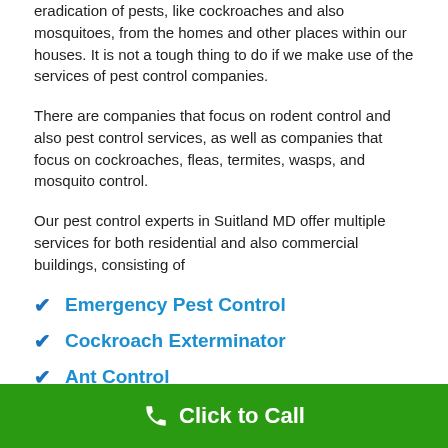eradication of pests, like cockroaches and also mosquitoes, from the homes and other places within our houses. It is not a tough thing to do if we make use of the services of pest control companies.
There are companies that focus on rodent control and also pest control services, as well as companies that focus on cockroaches, fleas, termites, wasps, and mosquito control.
Our pest control experts in Suitland MD offer multiple services for both residential and also commercial buildings, consisting of
Emergency Pest Control
Cockroach Exterminator
Ant Control
Rodent control
Click to Call